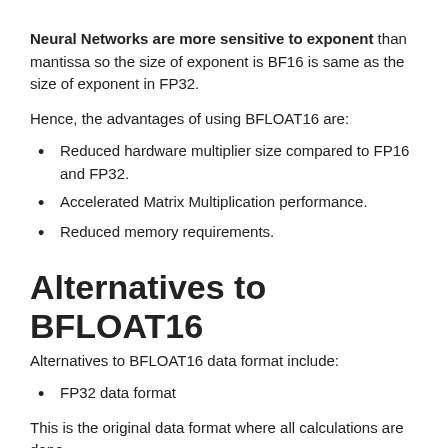Neural Networks are more sensitive to exponent than mantissa so the size of exponent is BF16 is same as the size of exponent in FP32.
Hence, the advantages of using BFLOAT16 are:
Reduced hardware multiplier size compared to FP16 and FP32.
Accelerated Matrix Multiplication performance.
Reduced memory requirements.
Alternatives to BFLOAT16
Alternatives to BFLOAT16 data format include:
FP32 data format
This is the original data format where all calculations are done.